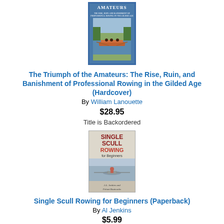[Figure (photo): Book cover for 'The Triumph of the Amateurs' showing rowers on water with blue border]
The Triumph of the Amateurs: The Rise, Ruin, and Banishment of Professional Rowing in the Gilded Age (Hardcover)
By William Lanouette
$28.95
Title is Backordered
[Figure (photo): Book cover for 'Single Scull Rowing for Beginners' showing a lone rower on calm water]
Single Scull Rowing for Beginners (Paperback)
By Al Jenkins
$5.99